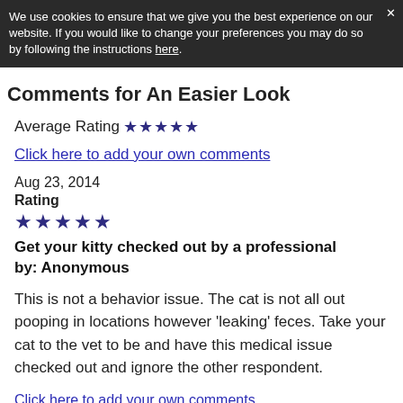We use cookies to ensure that we give you the best experience on our website. If you would like to change your preferences you may do so by following the instructions here.
Comments for An Easier Look
Average Rating ★★★★★
Click here to add your own comments
Aug 23, 2014
Rating ★★★★★
Get your kitty checked out by a professional by: Anonymous
This is not a behavior issue. The cat is not all out pooping in locations however 'leaking' feces. Take your cat to the vet to be and have this medical issue checked out and ignore the other respondent.
Click here to add your own comments
Join in and write your own page! It's easy to do. How? Simply click here to return to Behavior .